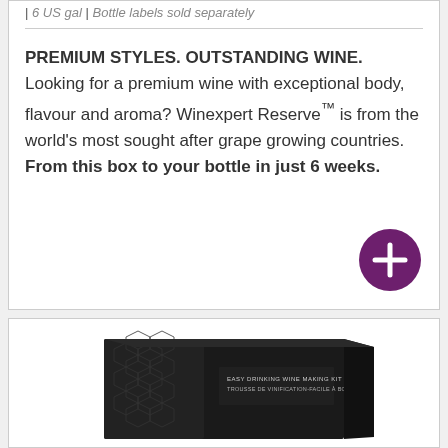| 6 US gal | Bottle labels sold separately
PREMIUM STYLES. OUTSTANDING WINE. Looking for a premium wine with exceptional body, flavour and aroma? Winexpert Reserve™ is from the world's most sought after grape growing countries. From this box to your bottle in just 6 weeks.
[Figure (illustration): Purple circle button with white plus sign]
[Figure (photo): Product box for Easy Drinking Wine Making Kit / Trousse de vinification facile à boire, dark packaging with hexagonal pattern]